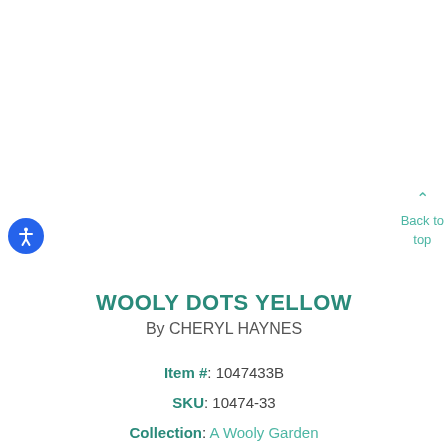[Figure (other): Blue circular accessibility icon button with white human figure symbol]
Back to top
WOOLY DOTS YELLOW
By CHERYL HAYNES
Item #: 1047433B
SKU: 10474-33
Collection: A Wooly Garden